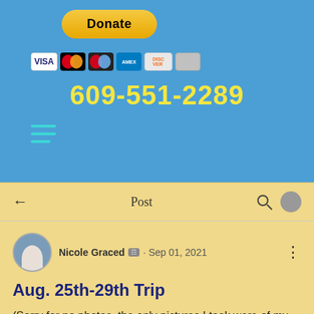[Figure (screenshot): Donate button with PayPal yellow styling and payment card icons (Visa, Mastercard, Maestro, Amex, Discover, other card)]
609-551-2289
[Figure (infographic): Hamburger menu icon with three cyan/teal horizontal lines]
Post
Nicole Graced · Sep 01, 2021
Aug. 25th-29th Trip
(Sorry for no photos, the only pictures I took were of my son in the pool)
It has been a very stressful last couple of weeks, so this was a much needed trip. After our usual errands and lunch stop, we made it down just